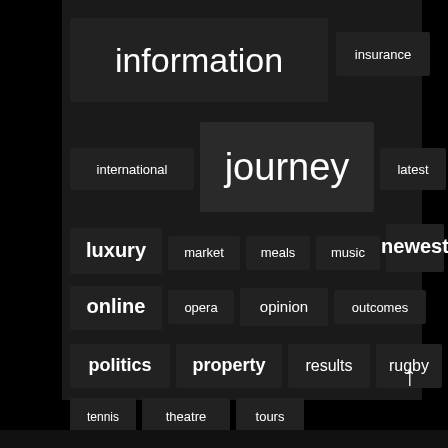[Figure (infographic): Tag cloud with words of varying sizes on dark background. Words include: information (largest), insurance, international, journey (large), latest, luxury, market, meals, music, newest, online, opera, opinion, outcomes, politics, property, results, rugby, science, tennis, theatre, tours, travel (large), union, vacation, world.]